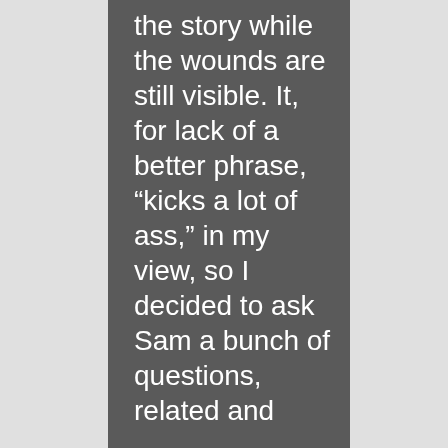the story while the wounds are still visible. It, for lack of a better phrase, “kicks a lot of ass,” in my view, so I decided to ask Sam a bunch of questions, related and